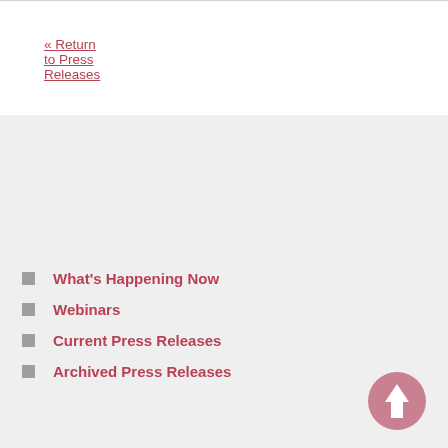« Return to Press Releases
What's Happening Now
Webinars
Current Press Releases
Archived Press Releases
[Figure (illustration): Circular upward arrow navigation button in dusty rose/pink color]